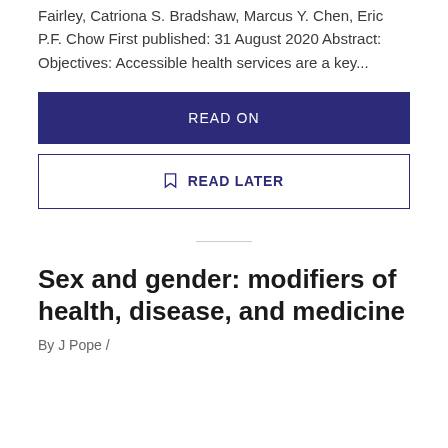Fairley, Catriona S. Bradshaw, Marcus Y. Chen, Eric P.F. Chow First published: 31 August 2020 Abstract: Objectives: Accessible health services are a key...
READ ON
READ LATER
Sex and gender: modifiers of health, disease, and medicine
By J Pope /